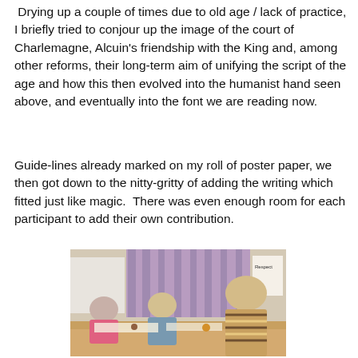Drying up a couple of times due to old age / lack of practice, I briefly tried to conjour up the image of the court of Charlemagne, Alcuin's friendship with the King and, among other reforms, their long-term aim of unifying the script of the age and how this then evolved into the humanist hand seen above, and eventually into the font we are reading now.
Guide-lines already marked on my roll of poster paper, we then got down to the nitty-gritty of adding the writing which fitted just like magic.  There was even enough room for each participant to add their own contribution.
[Figure (photo): Group of people sitting around a table writing/working on paper, with purple curtains and a 'Respect' sign visible in the background.]